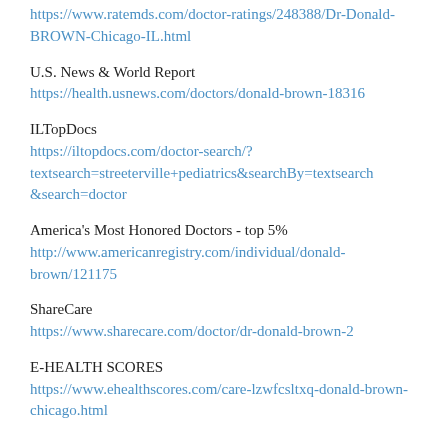https://www.ratemds.com/doctor-ratings/248388/Dr-Donald-BROWN-Chicago-IL.html
U.S. News & World Report
https://health.usnews.com/doctors/donald-brown-18316
ILTopDocs
https://iltopdocs.com/doctor-search/?textsearch=streeterville+pediatrics&searchBy=textsearch&search=doctor
America's Most Honored Doctors - top 5%
http://www.americanregistry.com/individual/donald-brown/121175
ShareCare
https://www.sharecare.com/doctor/dr-donald-brown-2
E-HEALTH SCORES
https://www.ehealthscores.com/care-lzwfcsltxq-donald-brown-chicago.html